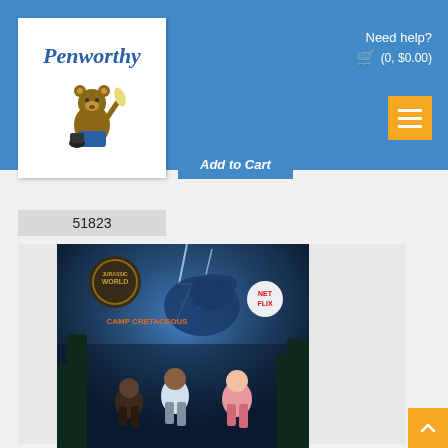[Figure (logo): Penworthy logo with bear mascot holding a quill pen, on white background]
Need help?
(0, $0.00)
Add to Cart
51823
[Figure (photo): Jurassic World Camp Cretaceous book cover showing animated characters running from a dinosaur with lightning in the background, Netflix logo visible]